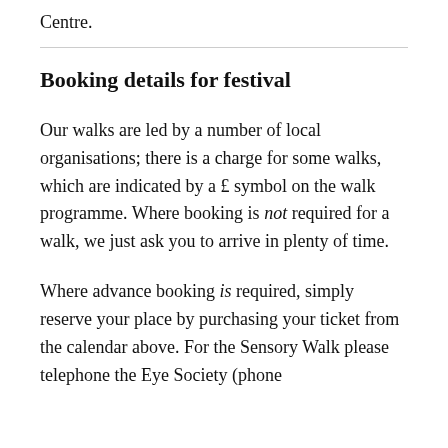Centre.
Booking details for festival
Our walks are led by a number of local organisations; there is a charge for some walks, which are indicated by a £ symbol on the walk programme. Where booking is not required for a walk, we just ask you to arrive in plenty of time.
Where advance booking is required, simply reserve your place by purchasing your ticket from the calendar above. For the Sensory Walk please telephone the Eye Society (phone